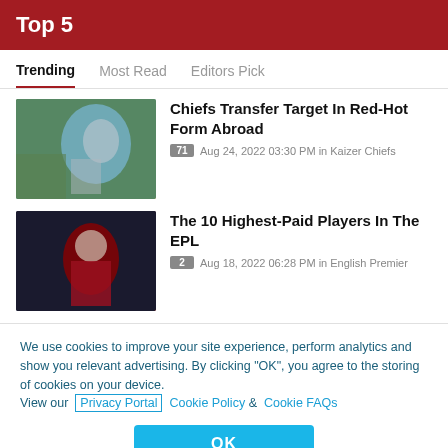Top 5
Trending   Most Read   Editors Pick
Chiefs Transfer Target In Red-Hot Form Abroad
71 Aug 24, 2022 03:30 PM in Kaizer Chiefs
The 10 Highest-Paid Players In The EPL
2 Aug 18, 2022 06:28 PM in English Premier
We use cookies to improve your site experience, perform analytics and show you relevant advertising. By clicking "OK", you agree to the storing of cookies on your device. View our Privacy Portal  Cookie Policy &  Cookie FAQs
OK